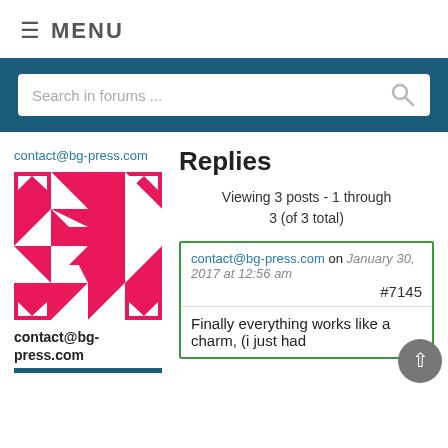≡ MENU
[Figure (screenshot): Search bar with placeholder 'Search in forums ...' on dark teal background]
contact@bg-press.com
[Figure (illustration): Red/pink geometric pattern avatar with triangles and squares forming a decorative symmetrical design]
contact@bg-press.com
Replies
Viewing 3 posts - 1 through 3 (of 3 total)
contact@bg-press.com on January 30, 2017 at 12:56 am #7145
Finally everything works like a charm, (i just had